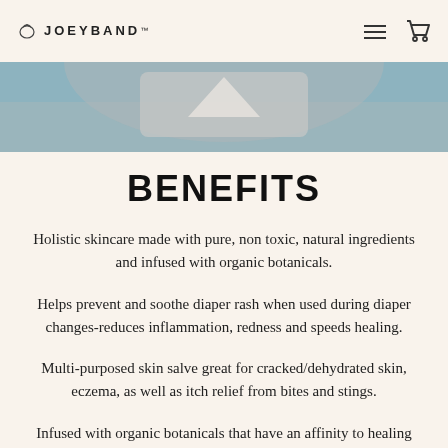JOEYBAND™
[Figure (photo): Partial product image showing a tin/container with blue and grey packaging tones]
BENEFITS
Holistic skincare made with pure, non toxic, natural ingredients and infused with organic botanicals.
Helps prevent and soothe diaper rash when used during diaper changes-reduces inflammation, redness and speeds healing.
Multi-purposed skin salve great for cracked/dehydrated skin, eczema, as well as itch relief from bites and stings.
Infused with organic botanicals that have an affinity to healing skin; comfrey, calendula, burdock, chickweed, chamomile, St. John's wort & plantain.